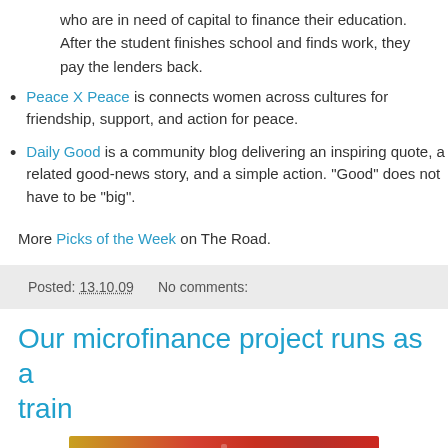who are in need of capital to finance their education. After the student finishes school and finds work, they pay the lenders back.
Peace X Peace is connects women across cultures for friendship, support, and action for peace.
Daily Good is a community blog delivering an inspiring quote, a related good-news story, and a simple action. "Good" does not have to be "big".
More Picks of the Week on The Road.
Posted: 13.10.09   No comments:
Our microfinance project runs as a train
[Figure (photo): Colorful image at bottom of page, partially visible, showing red and yellow tones possibly a train or market scene]